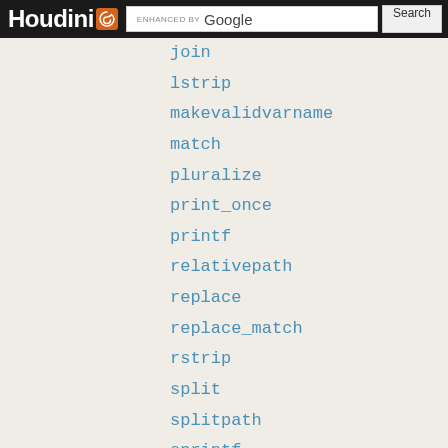Houdini — ENHANCED BY Google Search
join
lstrip
makevalidvarname
match
pluralize
print_once
printf
relativepath
replace
replace_match
rstrip
split
splitpath
sprintf
strip
strlen
toprintf